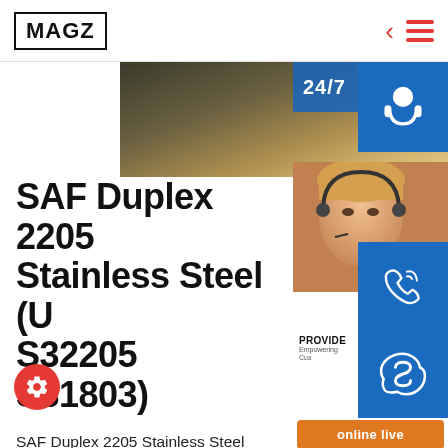MAGZ
[Figure (photo): Hero banner image showing metal/steel material with golden-brown tones]
[Figure (infographic): Sidebar widget with 24/7 support icons including headset, phone, and Skype icons, customer service photo, PROVIDE tagline, and online live button]
SAF Duplex 2205 Stainless Steel (UNS S32205 S31803)
SAF Duplex 2205 Stainless Steel (UNS S32205 S31803) Alloy Material. SAF Duplex 2205 stainless steel (UNS S32205 formerly known as UNS S31803 and commonly known as “alloy 2205”) has a mixed microstructure of austenite and ferrite, and is a two-phase alloy based on the Fe-Cr-Ni system. Alloy are a material.